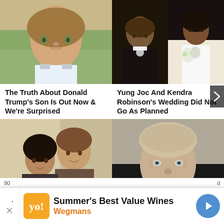[Figure (photo): Portrait photo of a young boy with brown hair and light eyes, wearing a collared shirt]
[Figure (photo): Two-person wedding photo: a man in a black tuxedo on the left and a woman in a white wedding dress holding flowers on the right]
The Truth About Donald Trump's Son Is Out Now & We're Surprised
Yung Joc And Kendra Robinson's Wedding Did Not Go As Planned
[Figure (photo): Couple selfie photo of a man and a woman smiling together outdoors]
[Figure (photo): Portrait photo of an older man with short gray-blond hair and a serious expression]
[Figure (infographic): Advertisement banner: Summer's Best Value Wines by Wegmans with orange logo and blue arrow button]